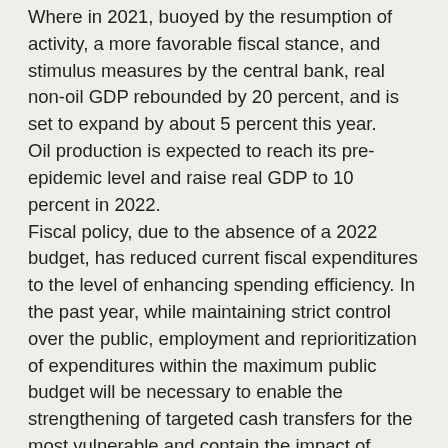Where in 2021, buoyed by the resumption of activity, a more favorable fiscal stance, and stimulus measures by the central bank, real non-oil GDP rebounded by 20 percent, and is set to expand by about 5 percent this year.
Oil production is expected to reach its pre-epidemic level and raise real GDP to 10 percent in 2022.
Fiscal policy, due to the absence of a 2022 budget, has reduced current fiscal expenditures to the level of enhancing spending efficiency. In the past year, while maintaining strict control over the public, employment and reprioritization of expenditures within the maximum public budget will be necessary to enable the strengthening of targeted cash transfers for the most vulnerable and contain the impact of poverty caused by the rising cost of living.
It is necessary to enhance spending efficiency, maintain close oversight of public sector